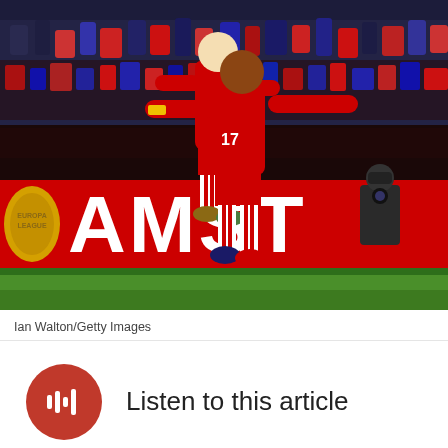[Figure (photo): Two Southampton FC players in red and white striped kits celebrating on a football pitch. One player is jumping on the other's back in celebration. In the background is a red advertising board reading 'AMST' (Amstel) and a crowd of spectators. The pitch is visible at the bottom.]
Ian Walton/Getty Images
Listen to this article